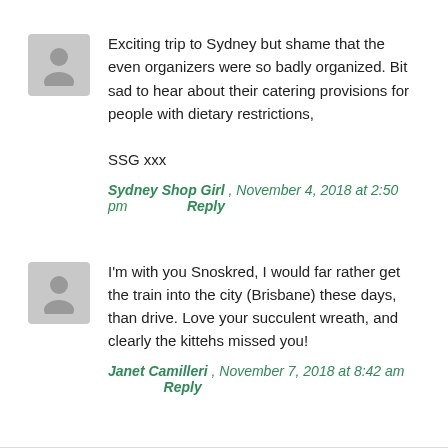Exciting trip to Sydney but shame that the even organizers were so badly organized. Bit sad to hear about their catering provisions for people with dietary restrictions,

SSG xxx
Sydney Shop Girl , November 4, 2018 at 2:50 pm   Reply
I'm with you Snoskred, I would far rather get the train into the city (Brisbane) these days, than drive. Love your succulent wreath, and clearly the kittehs missed you!
Janet Camilleri , November 7, 2018 at 8:42 am   Reply